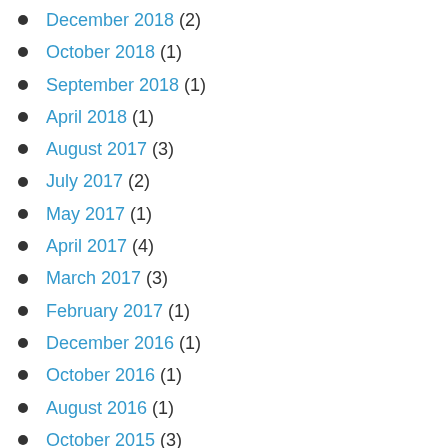December 2018 (2)
October 2018 (1)
September 2018 (1)
April 2018 (1)
August 2017 (3)
July 2017 (2)
May 2017 (1)
April 2017 (4)
March 2017 (3)
February 2017 (1)
December 2016 (1)
October 2016 (1)
August 2016 (1)
October 2015 (3)
September 2015 (1)
July 2014 (1)